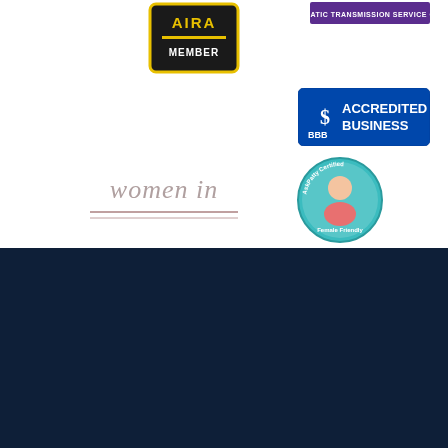[Figure (logo): AIRA Member badge - black with yellow border]
[Figure (logo): ATSG Automatic Transmission Service Group logo - purple banner]
[Figure (logo): BBB Accredited Business badge - blue rectangular badge]
[Figure (logo): Women In Automotive logo - grey text with decorative underline]
[Figure (logo): AskPatty Certified Female Friendly circular badge - teal with woman illustration]
SERVICES
AUTO REPAIR
BRAKE REPAIR
CHECK ENGINE LIGHT
FLEET SERVICES
TRANSMISSION
MAINTENANCE
TRANSMISSION
REBUILD
TRANSMISSION